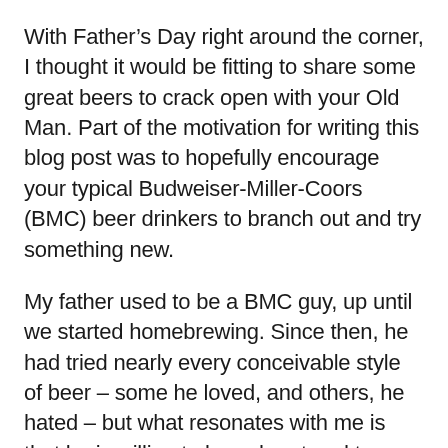With Father's Day right around the corner, I thought it would be fitting to share some great beers to crack open with your Old Man. Part of the motivation for writing this blog post was to hopefully encourage your typical Budweiser-Miller-Coors (BMC) beer drinkers to branch out and try something new.
My father used to be a BMC guy, up until we started homebrewing. Since then, he had tried nearly every conceivable style of beer – some he loved, and others, he hated – but what resonates with me is that he is willing to branch out and try something new, time and time again.